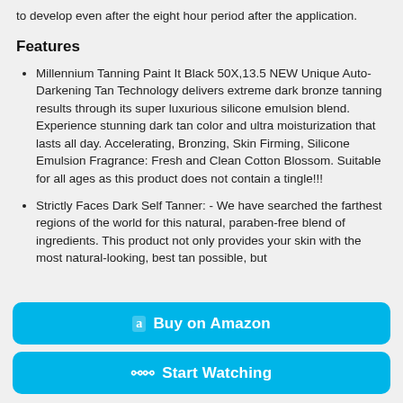to develop even after the eight hour period after the application.
Features
Millennium Tanning Paint It Black 50X,13.5 NEW Unique Auto-Darkening Tan Technology delivers extreme dark bronze tanning results through its super luxurious silicone emulsion blend. Experience stunning dark tan color and ultra moisturization that lasts all day. Accelerating, Bronzing, Skin Firming, Silicone Emulsion Fragrance: Fresh and Clean Cotton Blossom. Suitable for all ages as this product does not contain a tingle!!!
Strictly Faces Dark Self Tanner: - We have searched the farthest regions of the world for this natural, paraben-free blend of ingredients. This product not only provides your skin with the most natural-looking, best tan possible, but